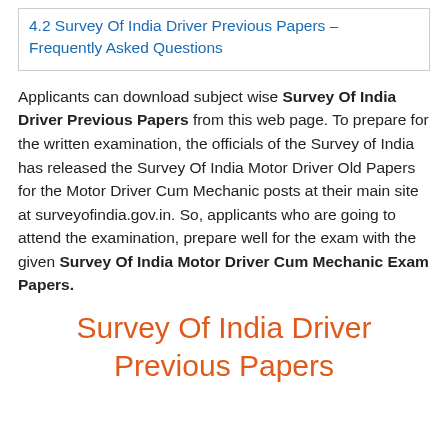4.2 Survey Of India Driver Previous Papers – Frequently Asked Questions
Applicants can download subject wise Survey Of India Driver Previous Papers from this web page. To prepare for the written examination, the officials of the Survey of India has released the Survey Of India Motor Driver Old Papers for the Motor Driver Cum Mechanic posts at their main site at surveyofindia.gov.in. So, applicants who are going to attend the examination, prepare well for the exam with the given Survey Of India Motor Driver Cum Mechanic Exam Papers.
Survey Of India Driver Previous Papers